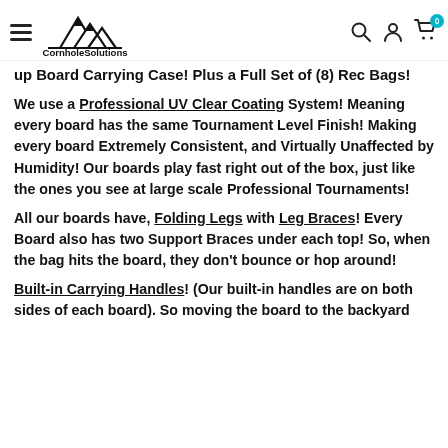CornholeSolutions
up Board Carrying Case! Plus a Full Set of (8) Rec Bags!
We use a Professional UV Clear Coating System! Meaning every board has the same Tournament Level Finish! Making every board Extremely Consistent, and Virtually Unaffected by Humidity! Our boards play fast right out of the box, just like the ones you see at large scale Professional Tournaments!
All our boards have, Folding Legs with Leg Braces! Every Board also has two Support Braces under each top! So, when the bag hits the board, they don't bounce or hop around!
Built-in Carrying Handles! (Our built-in handles are on both sides of each board). So moving the board to the backyard...